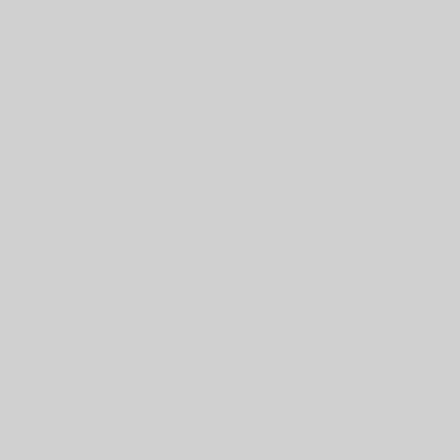| Label | Package |  |
| --- | --- | --- |
|  | gnumach-dbg (partial visible at top) | u |
| Binary: | gnumach-dbg | u |
| Binary: | gnumach-dev | u |
| Binary: | gnumach-image-1-486 | u |
| Binary: | gnumach-image-1-xen-486 | u |
| Binary: | gnumach-image-1.3.99-486 | u |
| Binary: | gnumach-image-1.3.99-486-dbg | u |
| Binary: | gnumach-image-1.3.99-xen-486 | u |
| Binary: | gnumach-image-1.3.99-xen-486-dbg | u |
| Binary: | kernel-image- | u |